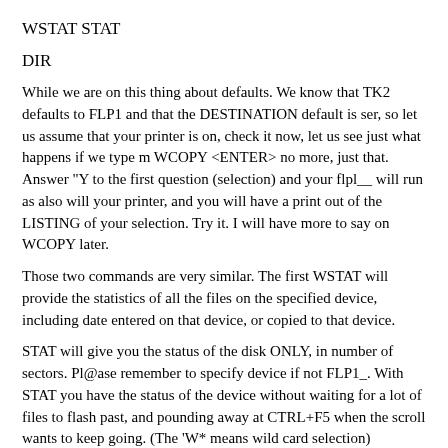WSTAT STAT
DIR
While we are on this thing about defaults. We know that TK2 defaults to FLP1 and that the DESTINATION default is ser, so let us assume that your printer is on, check it now, let us see just what happens if we type m WCOPY <ENTER> no more, just that. Answer "Y to the first question (selection) and your flpl__ will run as also will your printer, and you will have a print out of the LISTING of your selection. Try it. I will have more to say on WCOPY later.
Those two commands are very similar. The first WSTAT will provide the statistics of all the files on the specified device, including date entered on that device, or copied to that device.
STAT will give you the status of the disk ONLY, in number of sectors. Pl@ase remember to specify device if not FLP1_. With STAT you have the status of the device without waiting for a lot of files to flash past, and pounding away at CTRL+F5 when the scroll wants to keep going. (The 'W* means wild card selection)
Once TK2 has been activated, all commands are directed to JLPl^ so there is no need to type in FLP1_ when a directory is wanted all